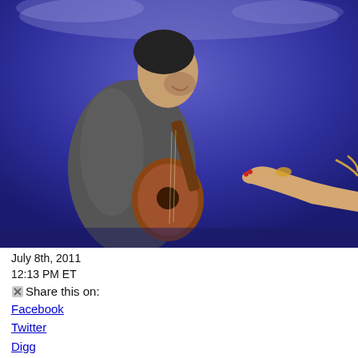[Figure (photo): A man in a gray jacket holding a guitar on a blue-lit stage, smiling, with a woman's arm reaching toward him from the right side.]
July 8th, 2011
12:13 PM ET
Share this on:
Facebook
Twitter
Digg